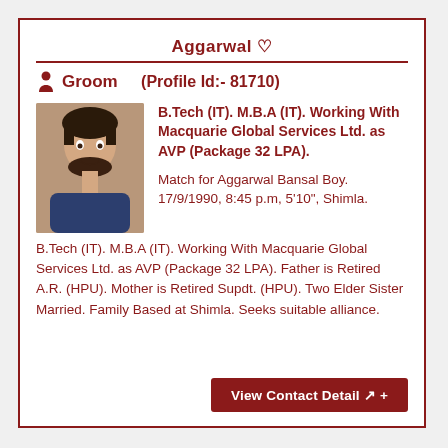Aggarwal ♡
Groom    (Profile Id:- 81710)
[Figure (photo): Photo of a young man with beard wearing a dark blue t-shirt]
B.Tech (IT). M.B.A (IT). Working With Macquarie Global Services Ltd. as AVP (Package 32 LPA).
Match for Aggarwal Bansal Boy. 17/9/1990, 8:45 p.m, 5'10", Shimla. B.Tech (IT). M.B.A (IT). Working With Macquarie Global Services Ltd. as AVP (Package 32 LPA). Father is Retired A.R. (HPU). Mother is Retired Supdt. (HPU). Two Elder Sister Married. Family Based at Shimla. Seeks suitable alliance.
View Contact Detail +